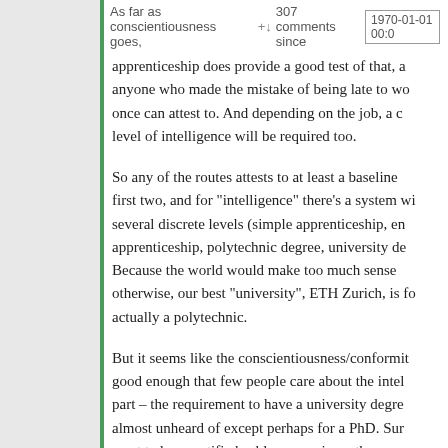As far as conscientiousness goes, apprenticeship does provide a good test of that, as anyone who made the mistake of being late to work once can attest to. And depending on the job, a certain level of intelligence will be required too.
So any of the routes attests to at least a baseline of the first two, and for "intelligence" there's a system with several discrete levels (simple apprenticeship, enhanced apprenticeship, polytechnic degree, university degree). Because the world would make too much sense otherwise, our best "university", ETH Zurich, is formally actually a polytechnic.
But it seems like the conscientiousness/conformity is good enough that few people care about the intelligence part – the requirement to have a university degree is almost unheard of except perhaps for a PhD. Sure, if you want to be a certified cable car engineer then you